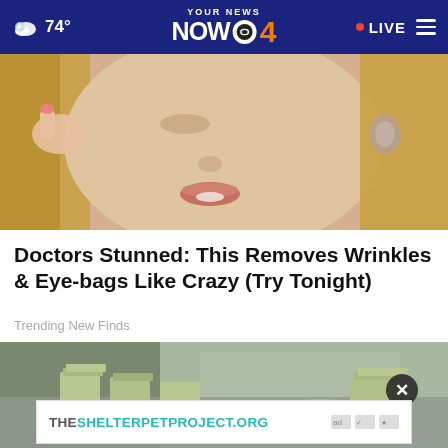74° YOUR NEWS NOW CBS 4 · LIVE
[Figure (photo): Close-up photo of a blonde woman touching her face near her eye, wearing a dangling earring, with pink nail polish visible]
Doctors Stunned: This Removes Wrinkles & Eye-bags Like Crazy (Try Tonight)
Trending New Finds
[Figure (photo): Photo of stacks of bundled US dollar bills on a table with a person in a grey shirt in the background]
THESHELTERPETPROJECT.ORG